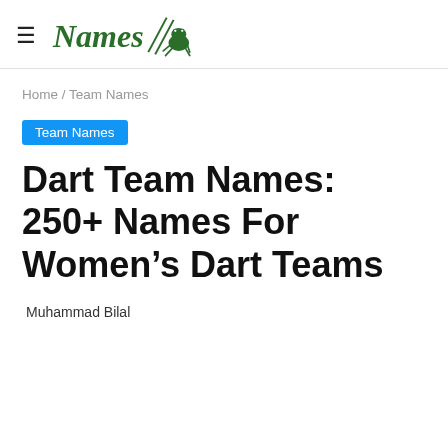≡ Names [frog logo]
Home / Team Names
Team Names
Dart Team Names: 250+ Names For Women's Dart Teams
Muhammad Bilal